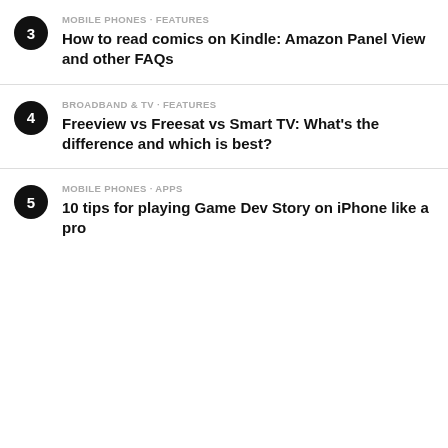3 · MOBILE PHONES · FEATURES — How to read comics on Kindle: Amazon Panel View and other FAQs
4 · BROADBAND & TV · FEATURES — Freeview vs Freesat vs Smart TV: What's the difference and which is best?
5 · MOBILE PHONES · APPS — 10 tips for playing Game Dev Story on iPhone like a pro